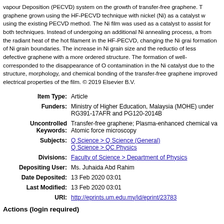Vapour Deposition (PECVD) system on the growth of transfer-free graphene. The graphene grown using the HF-PECVD technique with nickel (Ni) as a catalyst was compared using the existing PECVD method. The Ni film was used as a catalyst to assist graphene growth for both techniques. Instead of undergoing an additional Ni annealing process, a radiant heat from the radiant heat of the hot filament in the HF-PECVD, changing the Ni grain size and the formation of Ni grain boundaries. The increase in Ni grain size and the reduction correspond to growth of less defective graphene with a more ordered structure. The formation of well-ordered graphene corresponded to the disappearance of O contamination in the Ni catalyst due to the heating of the structure, morphology, and chemical bonding of the transfer-free graphene grown showed improved electrical properties of the film. © 2019 Elsevier B.V.
| Field | Value |
| --- | --- |
| Item Type: | Article |
| Funders: | Ministry of Higher Education, Malaysia (MOHE) under RG391-17AFR and PG120-2014B |
| Uncontrolled Keywords: | Transfer-free graphene; Plasma-enhanced chemical vapour deposition; Atomic force microscopy |
| Subjects: | Q Science > Q Science (General)
Q Science > QC Physics |
| Divisions: | Faculty of Science > Department of Physics |
| Depositing User: | Ms. Juhaida Abd Rahim |
| Date Deposited: | 13 Feb 2020 03:01 |
| Last Modified: | 13 Feb 2020 03:01 |
| URI: | http://eprints.um.edu.my/id/eprint/23783 |
Actions (login required)